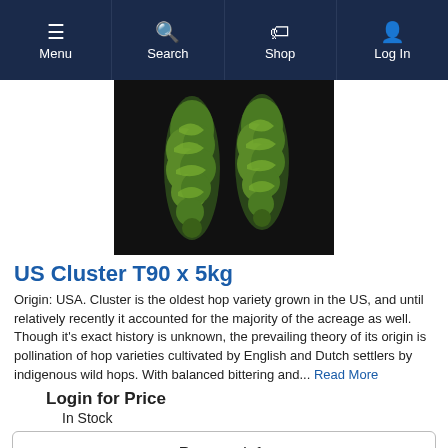Menu | Search | Shop | Log In
[Figure (photo): Two green hop cones (US Cluster variety) photographed against a black background]
US Cluster T90 x 5kg
Origin: USA. Cluster is the oldest hop variety grown in the US, and until relatively recently it accounted for the majority of the acreage as well. Though it's exact history is unknown, the prevailing theory of its origin is pollination of hop varieties cultivated by English and Dutch settlers by indigenous wild hops. With balanced bittering and... Read More
Login for Price
In Stock
Request Info